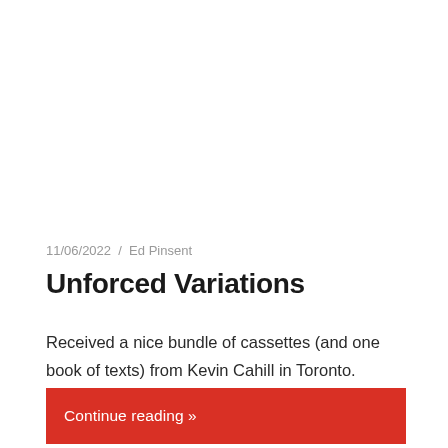11/06/2022  /  Ed Pinsent
Unforced Variations
Received a nice bundle of cassettes (and one book of texts) from Kevin Cahill in Toronto. Downer Canada is Kevin's
Continue reading »